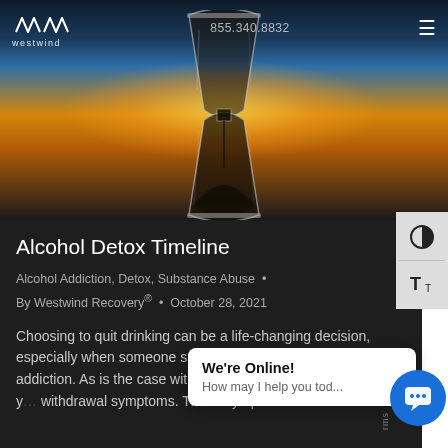westwind | 855.340.8832
[Figure (photo): Hourglass silhouette against a warm orange and golden sunset sky background, with sand accumulated at the bottom.]
Alcohol Detox Timeline
Alcohol Addiction, Detox, Substance Abuse • By Westwind Recovery® • October 28, 2021
Choosing to quit drinking can be a life-changing decision, especially when someone suffers from alcohol abuse or addiction. As is the case with all addictive sub… quitting is that y… withdrawal symptoms. These symptoms can
We're Online! How may I help you tod...